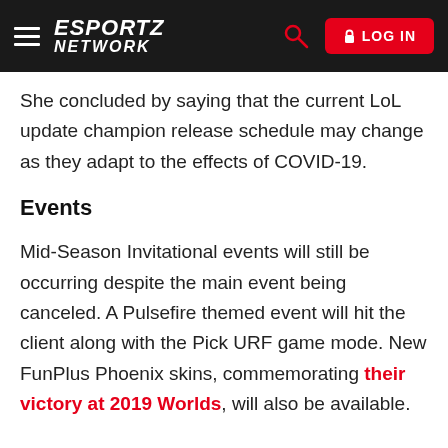ESPORTZ NETWORK — LOG IN
She concluded by saying that the current LoL update champion release schedule may change as they adapt to the effects of COVID-19.
Events
Mid-Season Invitational events will still be occurring despite the main event being canceled. A Pulsefire themed event will hit the client along with the Pick URF game mode. New FunPlus Phoenix skins, commemorating their victory at 2019 Worlds, will also be available.